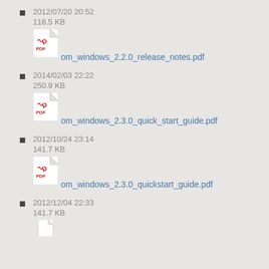2012/07/20 20:52
116.5 KB
om_windows_2.2.0_release_notes.pdf
2014/02/03 22:22
250.9 KB
om_windows_2.3.0_quick_start_guide.pdf
2012/10/24 23:14
141.7 KB
om_windows_2.3.0_quickstart_guide.pdf
2012/12/04 22:33
141.7 KB